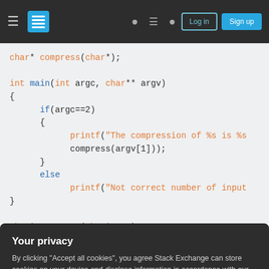Stack Exchange navigation bar with hamburger menu, logo, help, chat, search icons, Log in and Sign up buttons
[Figure (screenshot): Code snippet in C showing char* compress(char*); declaration, int main(int argc, char** argv) function with if(argc==2) block calling printf and compress(argv[1]), else block calling printf, and char* compress(char* str) function beginning]
Your privacy
By clicking "Accept all cookies", you agree Stack Exchange can store cookies on your device and disclose information in accordance with our Cookie Policy.
Accept all cookies   Customize settings
[Figure (screenshot): Bottom portion of code area showing int j = 0; line partially visible]